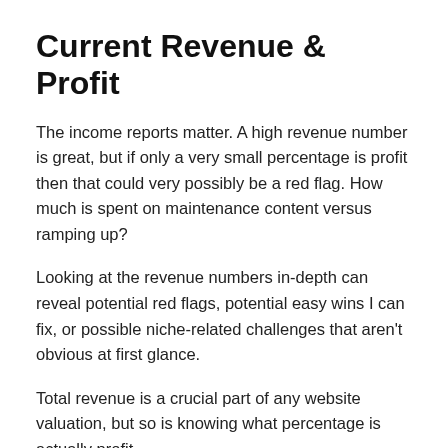Current Revenue & Profit
The income reports matter. A high revenue number is great, but if only a very small percentage is profit then that could very possibly be a red flag. How much is spent on maintenance content versus ramping up?
Looking at the revenue numbers in-depth can reveal potential red flags, potential easy wins I can fix, or possible niche-related challenges that aren't obvious at first glance.
Total revenue is a crucial part of any website valuation, but so is knowing what percentage is actually profit.
Any Easy Wins?
When looking to buy a website I want to spot easy wins that